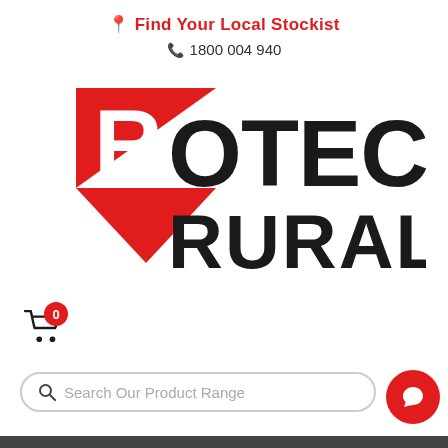📍 Find Your Local Stockist
📞 1800 004 940
[Figure (logo): Rotech Rural logo — red arrow/triangle pointing left with stylized white R, and bold black text ROTECH RURAL]
[Figure (infographic): Shopping cart icon with red badge showing '0']
Search Our Product Range
[Figure (infographic): Red circular chat/message button in bottom right corner]